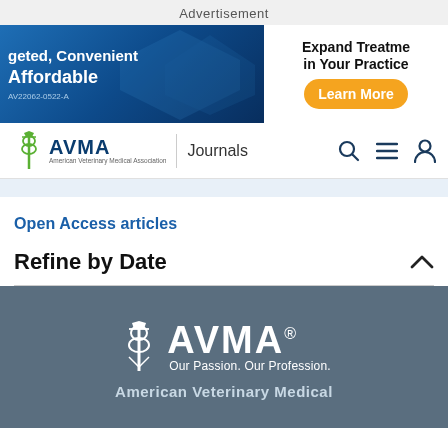Advertisement
[Figure (illustration): Banner advertisement: left side blue background with text 'geted, Convenient Affordable' and code 'AV22062-0522-A'; right side white background with text 'Expand Treatment in Your Practice' and orange 'Learn More' button]
AVMA | Journals [navigation bar with search, menu, and user icons]
Open Access articles
Refine by Date
[Figure (logo): AVMA logo in white on grey background with text 'Our Passion. Our Profession.' and below 'American Veterinary Medical']